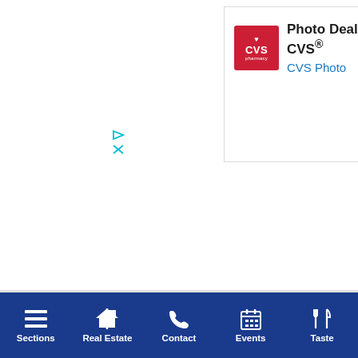[Figure (screenshot): CVS Pharmacy advertisement banner. Shows CVS Pharmacy logo (red square with heart and CVS text), headline 'Photo Deals At CVS®', subtext 'CVS Photo' in blue, a blue diamond-shaped arrow icon, and a dark close button (X) in top-right corner.]
AdChoices ▷
Sponsored
Sections  Real Estate  Contact  Events  Taste